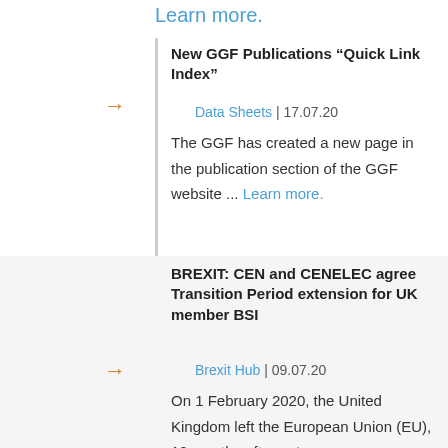Learn more.
New GGF Publications “Quick Link Index”
Data Sheets | 17.07.20
The GGF has created a new page in the publication section of the GGF website ... Learn more.
BREXIT: CEN and CENELEC agree Transition Period extension for UK member BSI
Brexit Hub | 09.07.20
On 1 February 2020, the United Kingdom left the European Union (EU), 10 months after ... Learn more.